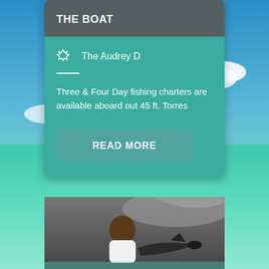[Figure (photo): Background beach scene with blue sky, turquoise ocean water, white clouds, and sandy shoreline]
THE BOAT
The Audrey D
Three & Four Day fishing charters are available aboard out 45 ft. Torres
READ MORE
[Figure (photo): Person on a boat holding a large fish (tuna/marlin), smiling at camera, fishing charter scene]